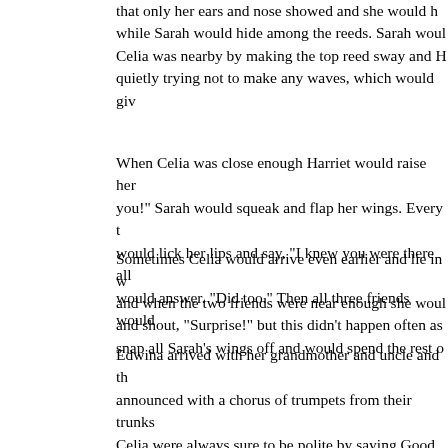that only her ears and nose showed and she would hide while Sarah would hide among the reeds. Sarah would let Celia know Celia was nearby by making the top reed sway and Harriet would be quietly trying not to make any waves, which would give her away.

When Celia was close enough Harriet would raise her head and shout "Got you!" Sarah would squeak and flap her wings. Every time this happened Celia would lick her lips and say, "I knew you were there all along." "Did not." would answer. "Did too." Then all three friends would...

Sometimes Celia would arrive even earlier and lie in wait herself, and when the two friends were near enough she would jump up and shout, "Surprise!" but this didn't happen often as once she did snap all Sarah's wings off and would spend the rest o...

Edwina arrived with her grandmother and uncle and their arrival was announced with a chorus of trumpets from their trunks. Harriet and Celia were always sure to be polite by saying Good morning to them. Edwina's grandmother was impressed and left saying, "Such credit to their families." Edwina's uncle knew that she got up to mischief and as her grandmother turned would wink and say, "Not too much mischief now." Once they had left Edwina would fill her trunk with water and everyone.
Jeremy the giraffe was usually the last to arrive. He was always arrived last as he would stop and nibble at the leaves of trees on his way to the watering hole. It was difficult to squirt someone so tall. Celia and Edwina had devised a plan for Edwina to lift Celia up and trumpet water over him as he bent to take a drink. "Very refreshing," would say in his slow and deliberate voice. Yes indee...